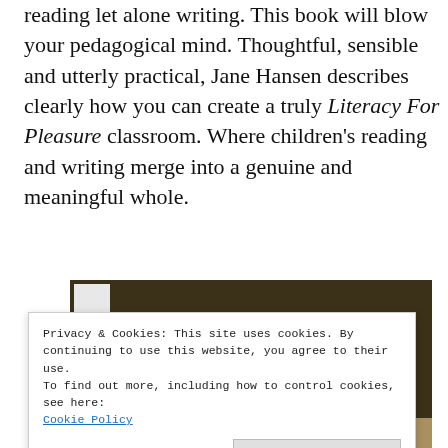reading let alone writing. This book will blow your pedagogical mind. Thoughtful, sensible and utterly practical, Jane Hansen describes clearly how you can create a truly Literacy For Pleasure classroom. Where children's reading and writing merge into a genuine and meaningful whole.
[Figure (photo): Book cover showing 'Teaching Literature Nine to Fourteen' text on a dark olive/brown background with a small white square in the upper left corner]
Privacy & Cookies: This site uses cookies. By continuing to use this website, you agree to their use.
To find out more, including how to control cookies, see here: Cookie Policy
Close and accept